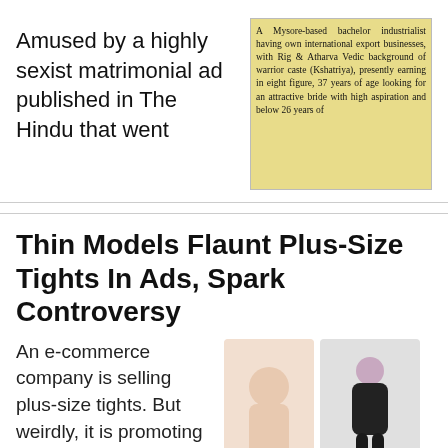Amused by a highly sexist matrimonial ad published in The Hindu that went
[Figure (photo): Clipping of a newspaper matrimonial ad from The Hindu on a yellow background, text reads: A Mysore-based bachelor industrialist having own international export businesses, with Rig & Atharva Vedic background of warrior caste (Kshatriya), presently earning in eight figure, 37 years of age looking for an attractive bride with high aspiration and below 26 years of]
Thin Models Flaunt Plus-Size Tights In Ads, Spark Controversy
An e-commerce company is selling plus-size tights. But weirdly, it is promoting
[Figure (photo): Two photos of thin female models wearing tights/hosiery against light backgrounds]
Avenging Sexism: Women's Suit Ad Has Men As...